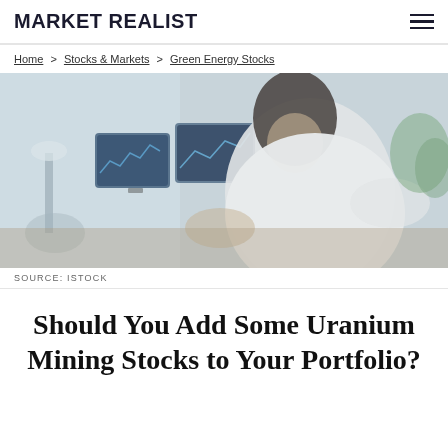MARKET REALIST
Home > Stocks & Markets > Green Energy Stocks
[Figure (photo): Blurred photo of a man in a white shirt sitting at a desk with computer monitors displaying financial charts in the background]
SOURCE: ISTOCK
Should You Add Some Uranium Mining Stocks to Your Portfolio?